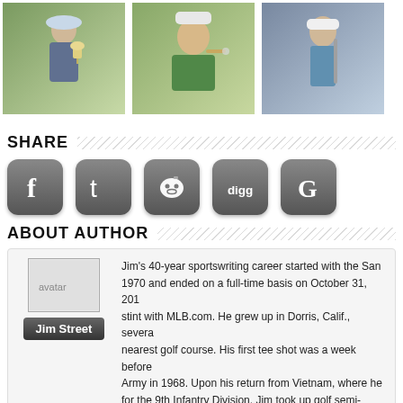[Figure (photo): Three golf-related photos in a row: a golfer holding a trophy, a golfer smoking a cigar, and a golfer with a club.]
SHARE
[Figure (infographic): Social media share buttons: Facebook, Twitter, Reddit, Digg, Google+]
ABOUT AUTHOR
[Figure (photo): Author avatar placeholder image]
Jim Street
Jim's 40-year sportswriting career started with the San 1970 and ended on a full-time basis on October 31, 201 stint with MLB.com. He grew up in Dorris, Calif., severa nearest golf course. His first tee shot was a week before Army in 1968. Upon his return from Vietnam, where he for the 9th Infantry Division, Jim took up golf semi-serio Mercury-News and covered numerous tournaments, inc 1982, when Tom Watson made the shot of his life.